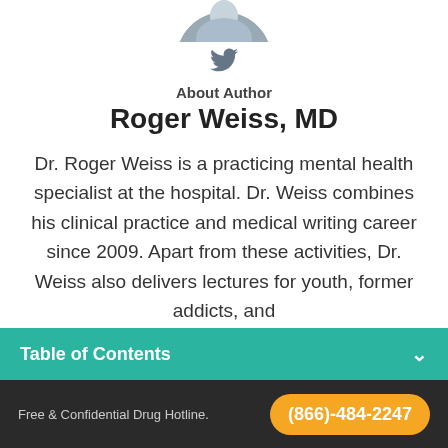[Figure (photo): Circular cropped photo of Roger Weiss MD at top of page]
[Figure (illustration): Twitter bird icon in gray]
About Author
Roger Weiss, MD
Dr. Roger Weiss is a practicing mental health specialist at the hospital. Dr. Weiss combines his clinical practice and medical writing career since 2009. Apart from these activities, Dr. Weiss also delivers lectures for youth, former addicts, and
Table of Contents
Free & Confidential Drug Hotline.
(866)-484-2247